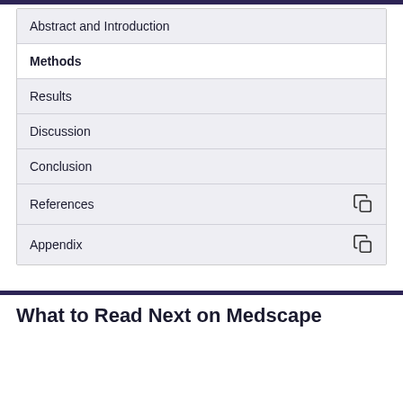Abstract and Introduction
Methods
Results
Discussion
Conclusion
References
Appendix
What to Read Next on Medscape